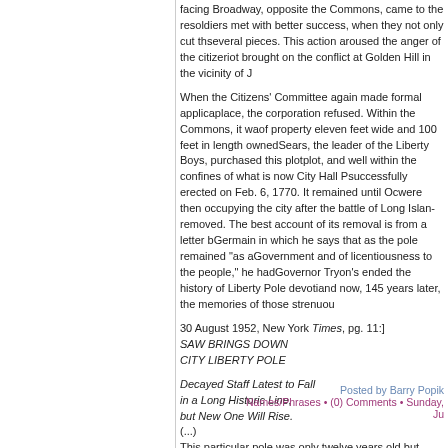facing Broadway, opposite the Commons, came to the re... soldiers met with better success, when they not only cut th... several pieces. This action aroused the anger of the citize... riot brought on the conflict at Golden Hill in the vicinity of J...
When the Citizens' Committee again made formal applica... place, the corporation refused. Within the Commons, it wa... of property eleven feet wide and 100 feet in length owned... Sears, the leader of the Liberty Boys, purchased this plot... plot, and well within the confines of what is now City Hall P... successfully erected on Feb. 6, 1770. It remained until Oc... were then occupying the city after the battle of Long Islan... removed. The best account of its removal is from a letter b... Germain in which he says that as the pole remained "as a... Government and of licentiousness to the people," he had... Governor Tryon's ended the history of Liberty Pole devoti... and now, 145 years later, the memories of those strenuou...
30 August 1952, New York Times, pg. 11:]
SAW BRINGS DOWN
CITY LIBERTY POLE
Decayed Staff Latest to Fall
in a Long Historic Line,
but New One Will Rise.
(...)
This particular pole was only twelve years old but enginee... It was itself a replacement for a 1921 job, joint gift of the S... of New York and the New York Historical Society.
The 1921 pole was set up on June 14 of that year, in cere... and confetti.
Posted by Barry Popik
Names/Phrases • (0) Comments • Sunday, Ju...